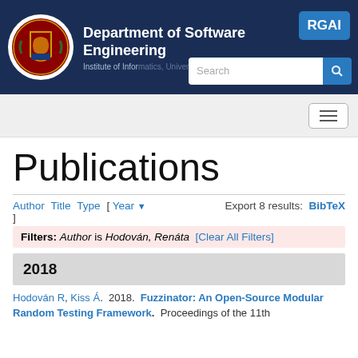Department of Software Engineering — RGAI — Institute of Informatics, University of Szeged
Publications
Author Title Type [ Year ▼ ]   Export 8 results: BibTeX
Filters: Author is Hodován, Renáta [Clear All Filters]
2018
Hodován R, Kiss Á. 2018. Fuzzinator: An Open-Source Modular Random Testing Framework. Proceedings of the 11th